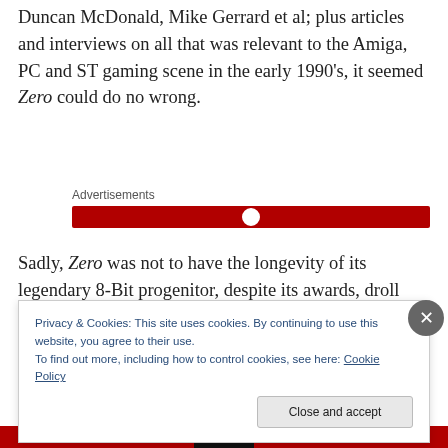Duncan McDonald, Mike Gerrard et al; plus articles and interviews on all that was relevant to the Amiga, PC and ST gaming scene in the early 1990's, it seemed Zero could do no wrong.
Advertisements
Sadly, Zero was not to have the longevity of its legendary 8-Bit progenitor, despite its awards, droll style and well written copy.
Privacy & Cookies: This site uses cookies. By continuing to use this website, you agree to their use.
To find out more, including how to control cookies, see here: Cookie Policy